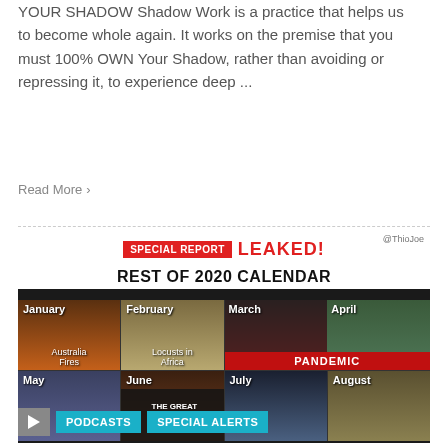YOUR SHADOW Shadow Work is a practice that helps us to become whole again. It works on the premise that you must 100% OWN Your Shadow, rather than avoiding or repressing it, to experience deep ...
Read More >
[Figure (infographic): Meme-style infographic titled 'SPECIAL REPORT LEAKED! REST OF 2020 CALENDAR' with a 4x2 grid showing months: January (Australia Fires), February (Locusts in Africa), March-April (PANDEMIC), May, June (THE GREAT AWAKENING REPORT), July, August. Attribution @ThioJoe.]
PODCASTS   SPECIAL ALERTS